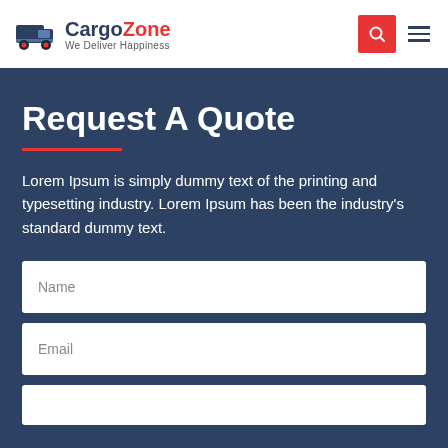CargoZone – We Deliver Happiness (navigation bar with logo, search button, and hamburger menu)
Request A Quote
Lorem Ipsum is simply dummy text of the printing and typesetting industry. Lorem Ipsum has been the industry's standard dummy text.
Name
Email